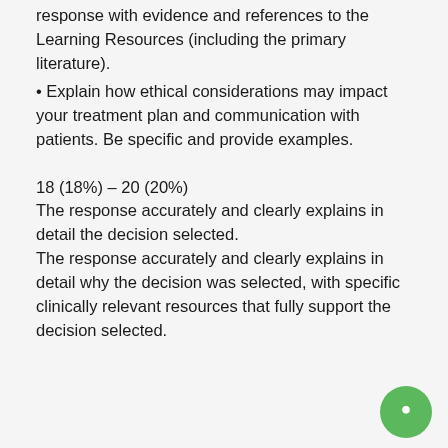response with evidence and references to the Learning Resources (including the primary literature).
• Explain how ethical considerations may impact your treatment plan and communication with patients. Be specific and provide examples.
18 (18%) – 20 (20%)
The response accurately and clearly explains in detail the decision selected.
The response accurately and clearly explains in detail why the decision was selected, with specific clinically relevant resources that fully support the decision selected.